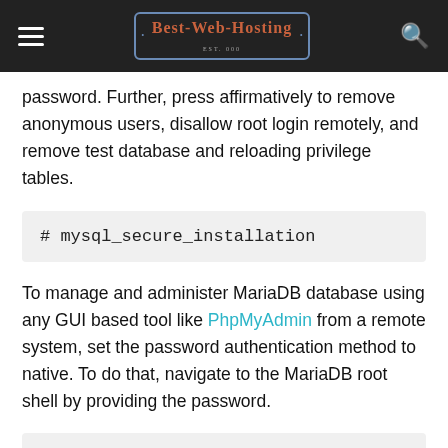Best-Web-Hosting
password. Further, press affirmatively to remove anonymous users, disallow root login remotely, and remove test database and reloading privilege tables.
To manage and administer MariaDB database using any GUI based tool like PhpMyAdmin from a remote system, set the password authentication method to native. To do that, navigate to the MariaDB root shell by providing the password.